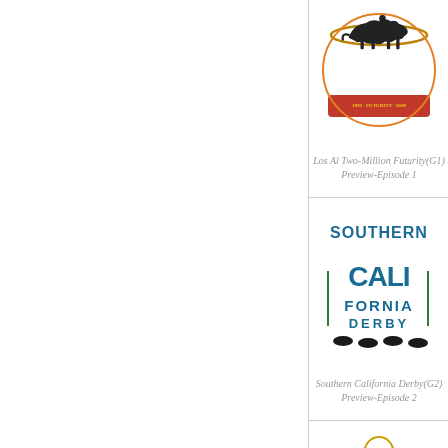[Figure (logo): Los Al Two-Million Futurity (G1) race logo with silhouette of horse and jockey, banner reading 1995-2018 FUTURITY]
Los Al Two-Million Futurity(G1) Preview-Episode 1
[Figure (logo): Southern California Derby (G2) logo with colorful text and silhouettes of horses racing]
Southern California Derby(G2) Preview-Episode 2
[Figure (logo): BG1 Lolita race logo, partial view, green and gold emblem]